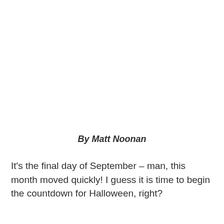By Matt Noonan
It's the final day of September – man, this month moved quickly! I guess it is time to begin the countdown for Halloween, right?